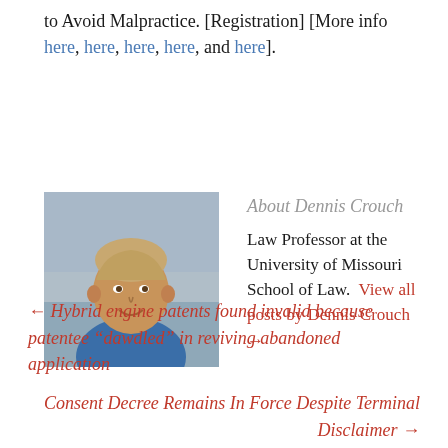to Avoid Malpractice. [Registration] [More info here, here, here, here, and here].
[Figure (photo): Headshot photo of Dennis Crouch, a middle-aged man with short hair, smiling, outdoors background]
About Dennis Crouch
Law Professor at the University of Missouri School of Law. View all posts by Dennis Crouch →
← Hybrid engine patents found invalid because patentee “dawdled” in reviving abandoned application
Consent Decree Remains In Force Despite Terminal Disclaimer →